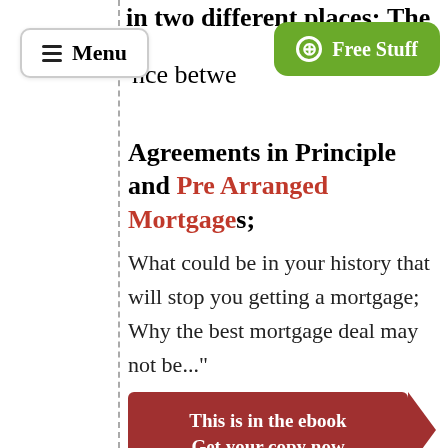in two different places; The
Menu
⊕ Free Stuff
nce betwe
Agreements in Principle and Pre Arranged Mortgages;
What could be in your history that will stop you getting a mortgage; Why the best mortgage deal may not be..."
This is in the ebook
Get your copy now
"... by an Agent then as long as the adviser is qualified